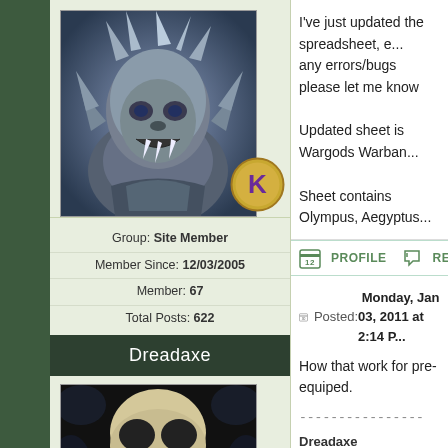[Figure (illustration): User avatar: fantasy werewolf warrior digital art, silver/grey tones]
Group: Site Member
Member Since: 12/03/2005
Member: 67
Total Posts: 622
Dreadaxe
[Figure (illustration): Second user avatar: dark skull/mask digital art]
I've just updated the spreadsheet, e... any errors/bugs please let me know

Updated sheet is Wargods Warban...

Sheet contains Olympus, Aegyptus...
PROFILE  REPORT  QUOTE
Posted: Monday, Jan 03, 2011 at 2:14 P...
How that work for pre-equiped.
Dreadaxe
WarGods_Fr : Y!G | Blog | Photo Gallery ...
Map player locator T³